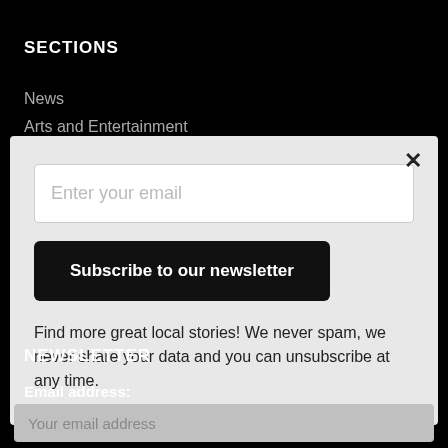SECTIONS
News
Arts and Entertainment
[Figure (screenshot): Newsletter subscription modal dialog with email input field placeholder 'Enter your email', a close button (X), a black 'Subscribe to our newsletter' button, and text 'Find more great local stories! We never spam, we never share your data and you can unsubscribe at any time.']
NEWSLETTER
Email address:
Your email address